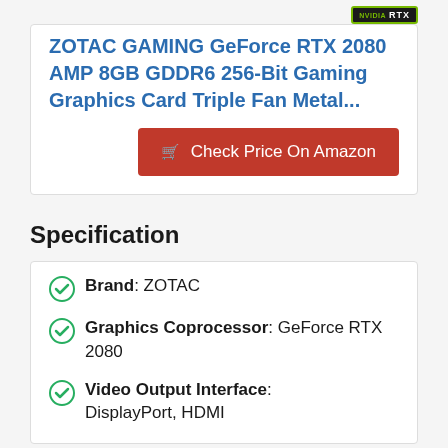[Figure (logo): NVIDIA RTX badge logo in top right of product card]
ZOTAC GAMING GeForce RTX 2080 AMP 8GB GDDR6 256-Bit Gaming Graphics Card Triple Fan Metal...
Check Price On Amazon
Specification
Brand: ZOTAC
Graphics Coprocessor: GeForce RTX 2080
Video Output Interface: DisplayPort, HDMI